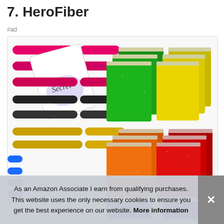7. HeroFiber
#ad
[Figure (photo): Product photo showing colorful HeroFiber pens/markers in pink, black, gold, blue, and purple, alongside green, yellow, orange, and red sparkly mini spiral notebooks arranged in a grid layout.]
As an Amazon Associate I earn from qualifying purchases. This website uses the only necessary cookies to ensure you get the best experience on our website. More information